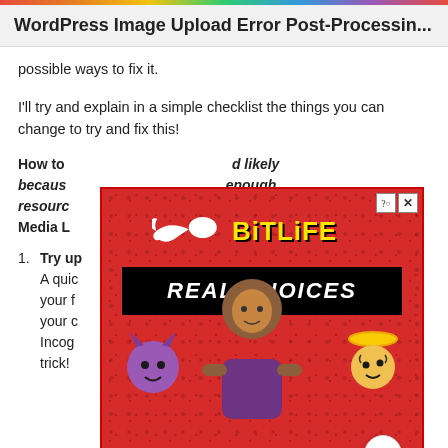WordPress Image Upload Error Post-Processin...
possible ways to fix it.
I'll try and explain in a simple checklist the things you can change to try and fix this!
How to [ad overlay] d likely becaus [ad overlay] enough resourc [ad overlay] Press Media L[ad overlay]
[Figure (screenshot): BitLife mobile game advertisement with red dotted background, sperm logo, yellow 'BitLife' text, black 'REAL CHOICES' banner, and cartoon characters including a devil emoji, angel emoji, and a girl character]
Try up[loading your image in a different brow]ser — A quic[k fix is to try re]loading your f[ile after you] clear your c[ache or open] he Incog[nito mode — this could do] the trick!